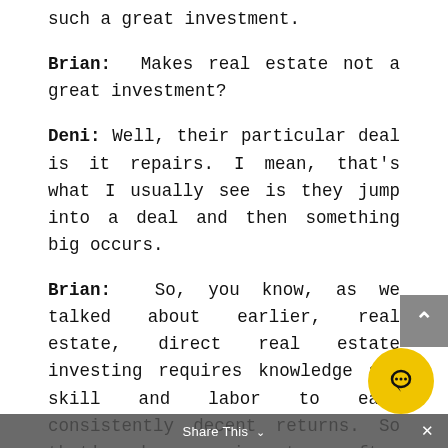such a great investment.
Brian: Makes real estate not a great investment?
Deni: Well, their particular deal is it repairs. I mean, that's what I usually see is they jump into a deal and then something big occurs.
Brian: So, you know, as we talked about earlier, real estate, direct real estate investing requires knowledge and skill and labor to earn consistently decent returns. So that's why new investors often lose money. They don't have that knowledge and skill, so often end up with negative returns on their